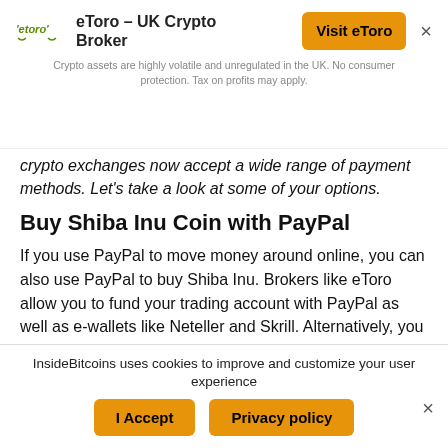[Figure (logo): eToro logo with green stylized arrow icon and wordmark]
eToro – UK Crypto Broker
Visit eToro
Crypto assets are highly volatile and unregulated in the UK. No consumer protection. Tax on profits may apply.
crypto exchanges now accept a wide range of payment methods. Let's take a look at some of your options.
Buy Shiba Inu Coin with PayPal
If you use PayPal to move money around online, you can also use PayPal to buy Shiba Inu. Brokers like eToro allow you to fund your trading account with PayPal as well as e-wallets like Neteller and Skrill. Alternatively, you can buy Bitcoin with PayPal and then use your Bitcoin to buy Shiba Inu with an exchange like Binance.
InsideBitcoins uses cookies to improve and customize your user experience
I Accept
Privacy policy